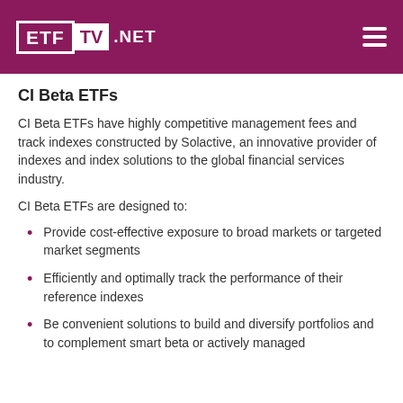ETF TV .NET
CI Beta ETFs
CI Beta ETFs have highly competitive management fees and track indexes constructed by Solactive, an innovative provider of indexes and index solutions to the global financial services industry.
CI Beta ETFs are designed to:
Provide cost-effective exposure to broad markets or targeted market segments
Efficiently and optimally track the performance of their reference indexes
Be convenient solutions to build and diversify portfolios and to complement smart beta or actively managed